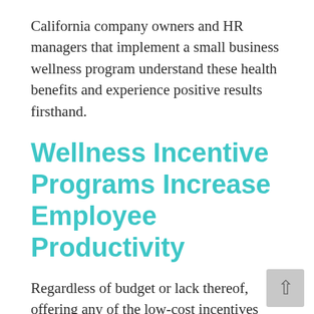California company owners and HR managers that implement a small business wellness program understand these health benefits and experience positive results firsthand.
Wellness Incentive Programs Increase Employee Productivity
Regardless of budget or lack thereof, offering any of the low-cost incentives listed above can increase employee productivity. These incentives help employees to feel like active participants in